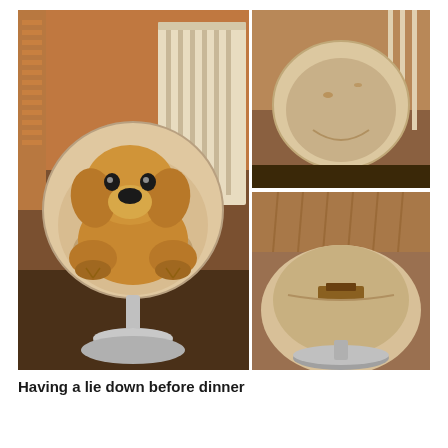[Figure (photo): Three photos of a round cream/white swivel chair on a chrome pedestal base in a room with warm orange lighting. Left large photo: a large stuffed plush toy dog sitting in the round chair. Top right photo: close-up of the round chair back, empty, showing wear. Bottom right photo: close-up of the chair arm/side showing damage or a tear.]
Having a lie down before dinner